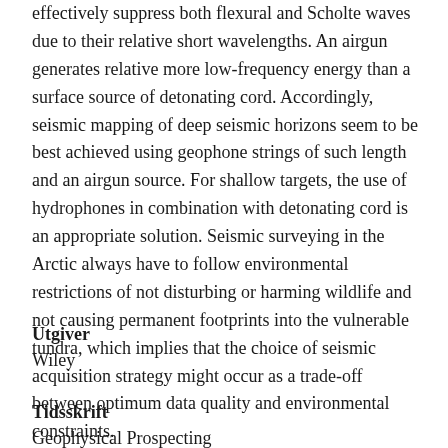effectively suppress both flexural and Scholte waves due to their relative short wavelengths. An airgun generates relative more low-frequency energy than a surface source of detonating cord. Accordingly, seismic mapping of deep seismic horizons seem to be best achieved using geophone strings of such length and an airgun source. For shallow targets, the use of hydrophones in combination with detonating cord is an appropriate solution. Seismic surveying in the Arctic always have to follow environmental restrictions of not disturbing or harming wildlife and not causing permanent footprints into the vulnerable tundra, which implies that the choice of seismic acquisition strategy might occur as a trade-off between optimum data quality and environmental constraints.
Utgiver
Wiley
Tidsskrift
Geophysical Prospecting